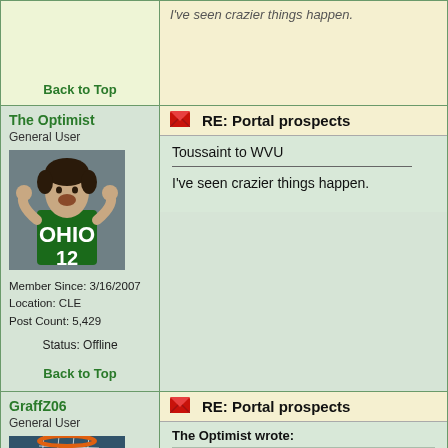Back to Top
The Optimist
General User
[Figure (photo): Photo of Ohio Bobcats basketball player #12 celebrating]
Member Since: 3/16/2007
Location: CLE
Post Count: 5,429
Status: Offline
Back to Top
RE: Portal prospects
Toussaint to WVU

I've seen crazier things happen.
GraffZ06
General User
[Figure (photo): Photo of basketball hoop/net from below]
RE: Portal prospects
The Optimist wrote:
Toussaint to WVU